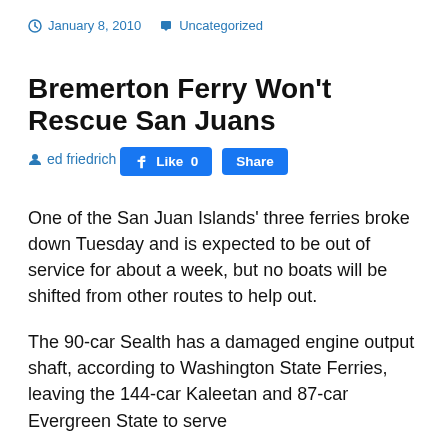January 8, 2010   Uncategorized
Bremerton Ferry Won't Rescue San Juans
ed friedrich
[Figure (other): Facebook Like and Share buttons]
One of the San Juan Islands' three ferries broke down Tuesday and is expected to be out of service for about a week, but no boats will be shifted from other routes to help out.
The 90-car Sealth has a damaged engine output shaft, according to Washington State Ferries, leaving the 144-car Kaleetan and 87-car Evergreen State to serve